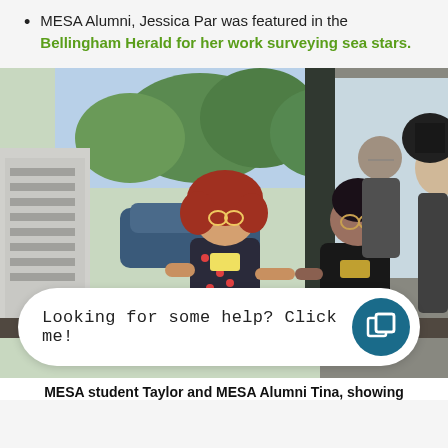MESA Alumni, Jessica Par was featured in the Bellingham Herald for her work surveying sea stars.
[Figure (photo): Photo of MESA student Taylor and MESA Alumni Tina inside a facility, with scientific equipment visible on the left, and people standing and conversing. A chat widget overlay reads 'Looking for some help? Click me!' with a teal circle icon.]
MESA student Taylor and MESA Alumni Tina, showing